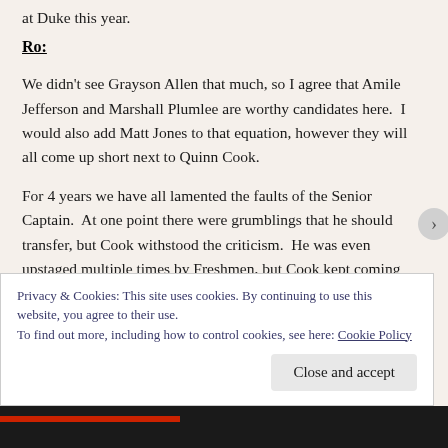at Duke this year.
Ro:
We didn't see Grayson Allen that much, so I agree that Amile Jefferson and Marshall Plumlee are worthy candidates here.  I would also add Matt Jones to that equation, however they will all come up short next to Quinn Cook.
For 4 years we have all lamented the faults of the Senior Captain.  At one point there were grumblings that he should transfer, but Cook withstood the criticism.  He was even upstaged multiple times by Freshmen, but Cook kept coming
Privacy & Cookies: This site uses cookies. By continuing to use this website, you agree to their use.
To find out more, including how to control cookies, see here: Cookie Policy
Close and accept